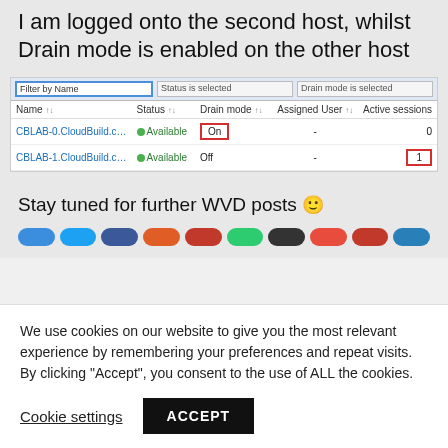I am logged onto the second host, whilst Drain mode is enabled on the other host
[Figure (screenshot): Table showing two CloudBuild hosts (CBLAB-0 and CBLAB-1) with columns Name, Status, Drain mode, Assigned User, Active sessions. CBLAB-0 has Drain mode 'On' highlighted with red box and 0 active sessions. CBLAB-1 has Drain mode 'Off' and 1 active session highlighted with red box.]
Stay tuned for further WVD posts 🙂
We use cookies on our website to give you the most relevant experience by remembering your preferences and repeat visits. By clicking "Accept", you consent to the use of ALL the cookies.
Cookie settings   ACCEPT